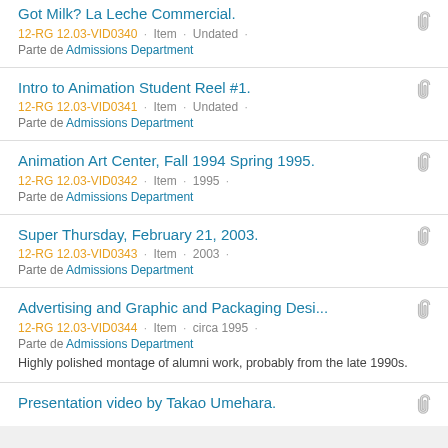Got Milk? La Leche Commercial. 12-RG 12.03-VID0340 · Item · Undated · Parte de Admissions Department
Intro to Animation Student Reel #1. 12-RG 12.03-VID0341 · Item · Undated · Parte de Admissions Department
Animation Art Center, Fall 1994 Spring 1995. 12-RG 12.03-VID0342 · Item · 1995 · Parte de Admissions Department
Super Thursday, February 21, 2003. 12-RG 12.03-VID0343 · Item · 2003 · Parte de Admissions Department
Advertising and Graphic and Packaging Desi... 12-RG 12.03-VID0344 · Item · circa 1995 · Parte de Admissions Department. Highly polished montage of alumni work, probably from the late 1990s.
Presentation video by Takao Umehara.